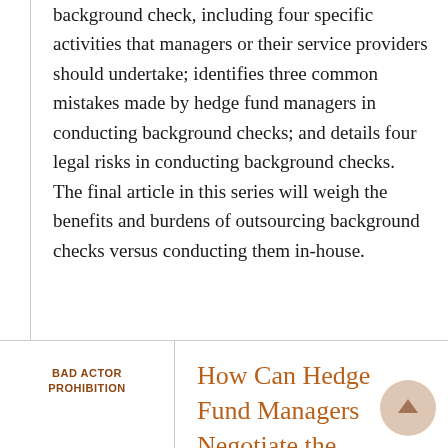background check, including four specific activities that managers or their service providers should undertake; identifies three common mistakes made by hedge fund managers in conducting background checks; and details four legal risks in conducting background checks.  The final article in this series will weigh the benefits and burdens of outsourcing background checks versus conducting them in-house.
BAD ACTOR PROHIBITION
How Can Hedge Fund Managers Negotiate the Structuring, Operational and Due Diligence